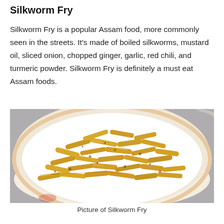Silkworm Fry
Silkworm Fry is a popular Assam food, more commonly seen in the streets. It's made of boiled silkworms, mustard oil, sliced onion, chopped ginger, garlic, red chili, and turmeric powder. Silkworm Fry is definitely a must eat Assam foods.
[Figure (photo): A close-up photo of fried silkworms piled on a white plate with a decorative rim. The silkworms are golden-yellow colored and coated in spices, stacked in a heaping mound.]
Picture of Silkworm Fry